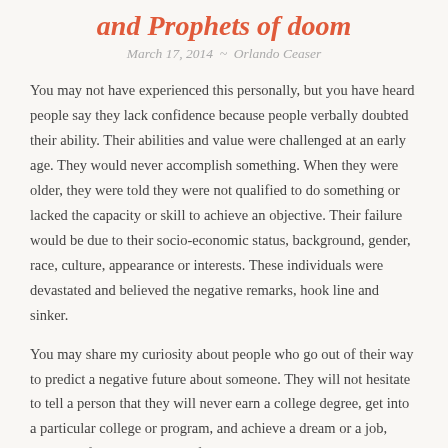and Prophets of doom
March 17, 2014 ~ Orlando Ceaser
You may not have experienced this personally, but you have heard people say they lack confidence because people verbally doubted their ability. Their abilities and value were challenged at an early age. They would never accomplish something. When they were older, they were told they were not qualified to do something or lacked the capacity or skill to achieve an objective. Their failure would be due to their socio-economic status, background, gender, race, culture, appearance or interests. These individuals were devastated and believed the negative remarks, hook line and sinker.
You may share my curiosity about people who go out of their way to predict a negative future about someone. They will not hesitate to tell a person that they will never earn a college degree, get into a particular college or program, and achieve a dream or a job, because of a limited vision of an individual's potential. These